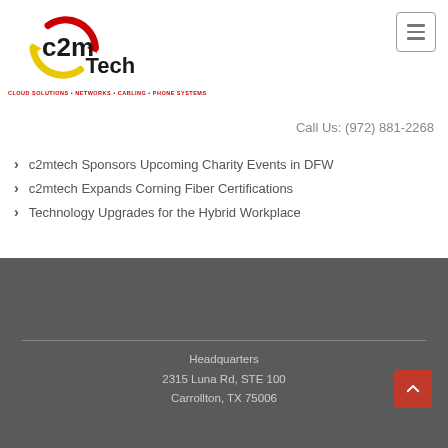[Figure (logo): c2m Tech logo with red and yellow circular arrows, bold text 'c2m Tech' and tagline 'CLOUD SOLUTIONS • NETWORKS • CABLING • PHONE SYSTEMS']
Call Us: (972) 881-2268
c2mtech Sponsors Upcoming Charity Events in DFW
c2mtech Expands Corning Fiber Certifications
Technology Upgrades for the Hybrid Workplace
Headquarters
2315 Luna Rd, STE 100
Carrollton, TX 75006